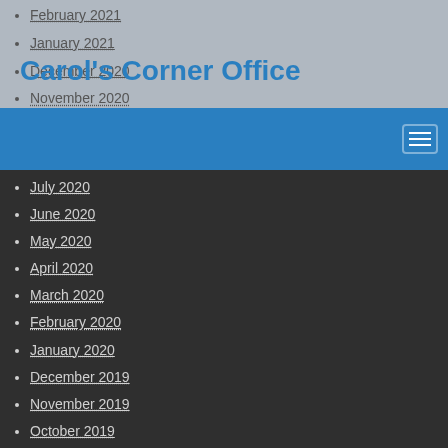Carol's Corner Office
February 2021
January 2021
December 2020
November 2020
October 2020
September 2020
August 2020
July 2020
June 2020
May 2020
April 2020
March 2020
February 2020
January 2020
December 2019
November 2019
October 2019
September 2019
August 2019
July 2019
June 2019
May 2019
April 2019